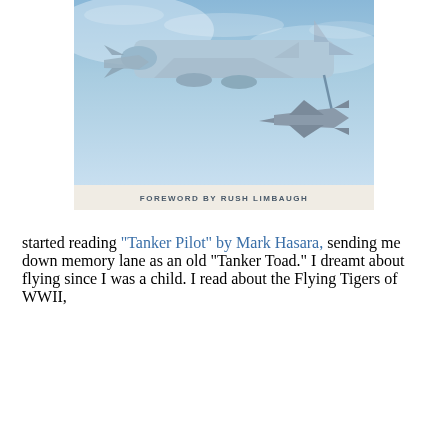[Figure (photo): Book cover photo of military aircraft (tanker and fighter jet) in flight against a blue sky, with text 'FOREWORD BY RUSH LIMBAUGH' at the bottom of the cover image.]
started reading “Tanker Pilot” by Mark Hasara, sending me down memory lane as an old “Tanker Toad.” I dreamt about flying since I was a child. I read about the Flying Tigers of WWII,